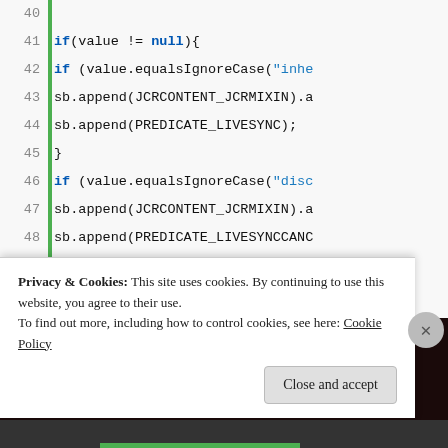[Figure (screenshot): Code editor screenshot showing Java code lines 40-62 with line numbers, a green vertical bar, and syntax highlighting. Code includes if statements with value.equalsIgnoreCase checks, sb.append calls with JCRCONTENT_JCRMIXIN and PREDICATE_LIVESYNC constants, a String xpath = sb.toString() statement, a logger.debug call, and return xpath.]
Privacy & Cookies: This site uses cookies. By continuing to use this website, you agree to their use.
To find out more, including how to control cookies, see here: Cookie Policy
Close and accept